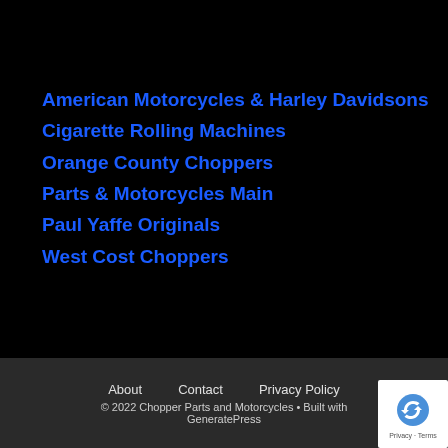American Motorcycles & Harley Davidsons
Cigarette Rolling Machines
Orange County Choppers
Parts & Motorcycles Main
Paul Yaffe Originals
West Cost Choppers
About   Contact   Privacy Policy   © 2022 Chopper Parts and Motorcycles • Built with GeneratePress